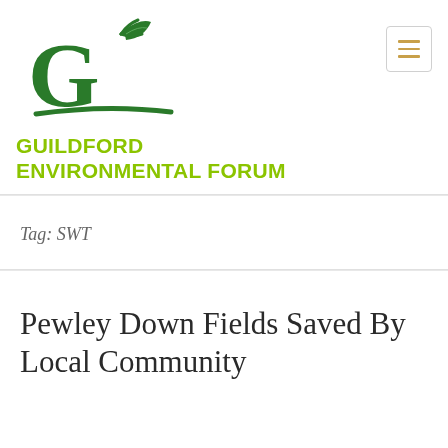[Figure (logo): Guildford Environmental Forum logo: stylized letter G with green leaf/plant motif above a curved ground line]
GUILDFORD ENVIRONMENTAL FORUM
Tag: SWT
Pewley Down Fields Saved By Local Community